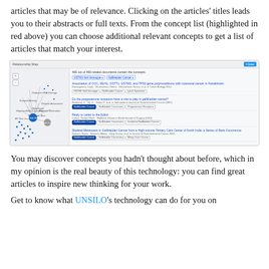articles that may be of relevance. Clicking on the articles' titles leads you to their abstracts or full texts. From the concept list (highlighted in red above) you can choose additional relevant concepts to get a list of articles that match your interest.
[Figure (screenshot): Screenshot of a Relationship Map interface showing a network graph on the left with nodes (GSTM1 Null Genotype highlighted in blue, Gastric Cancer in grey, etc.) connected by lines, and on the right a list of related articles with tags including 'Gallbladder Cancer', 'GSTM1 Null Genotype', etc. A 'Close' button appears in the top right. Text at top: '466 out of 466 related documents contain the concepts.']
You may discover concepts you hadn't thought about before, which in my opinion is the real beauty of this technology: you can find great articles to inspire new thinking for your work.
Get to know what UNSILO's technology can do for you on